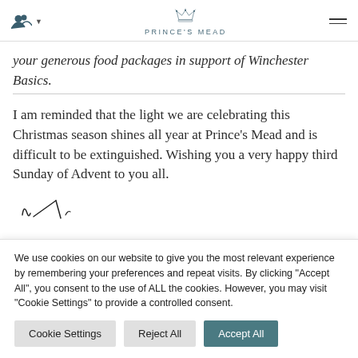PRINCE'S MEAD
your generous food packages in support of Winchester Basics.
I am reminded that the light we are celebrating this Christmas season shines all year at Prince's Mead and is difficult to be extinguished. Wishing you a very happy third Sunday of Advent to you all.
[Figure (other): Handwritten signature]
We use cookies on our website to give you the most relevant experience by remembering your preferences and repeat visits. By clicking "Accept All", you consent to the use of ALL the cookies. However, you may visit "Cookie Settings" to provide a controlled consent.